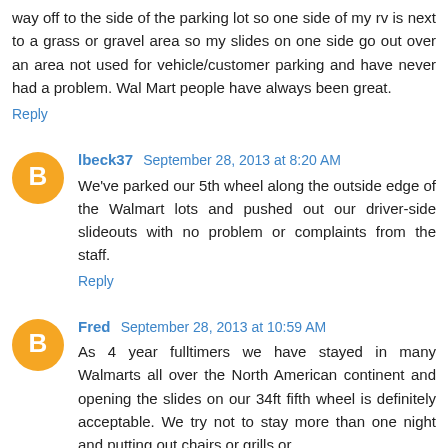way off to the side of the parking lot so one side of my rv is next to a grass or gravel area so my slides on one side go out over an area not used for vehicle/customer parking and have never had a problem. Wal Mart people have always been great.
Reply
lbeck37  September 28, 2013 at 8:20 AM
We've parked our 5th wheel along the outside edge of the Walmart lots and pushed out our driver-side slideouts with no problem or complaints from the staff.
Reply
Fred  September 28, 2013 at 10:59 AM
As 4 year fulltimers we have stayed in many Walmarts all over the North American continent and opening the slides on our 34ft fifth wheel is definitely acceptable. We try not to stay more than one night and putting out chairs or grills or making the RV area too comfortable. You should add to